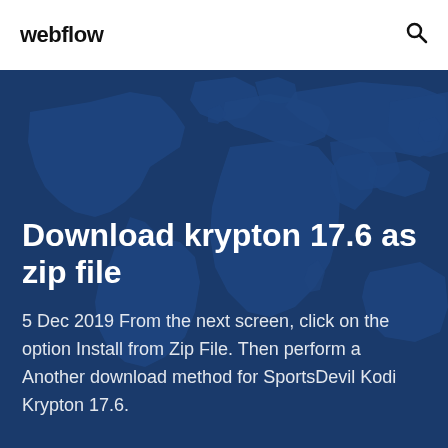webflow
[Figure (illustration): World map silhouette on dark blue background used as hero section backdrop]
Download krypton 17.6 as zip file
5 Dec 2019 From the next screen, click on the option Install from Zip File. Then perform a Another download method for SportsDevil Kodi Krypton 17.6.